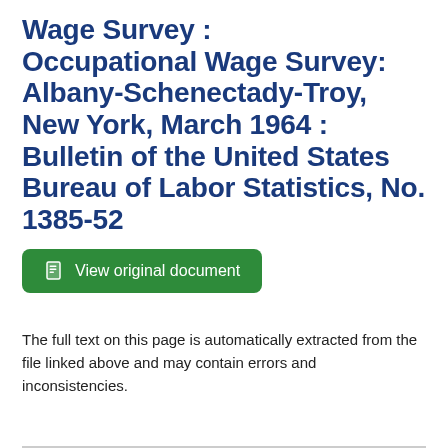Wage Survey : Occupational Wage Survey: Albany-Schenectady-Troy, New York, March 1964 : Bulletin of the United States Bureau of Labor Statistics, No. 1385-52
View original document
The full text on this page is automatically extracted from the file linked above and may contain errors and inconsistencies.